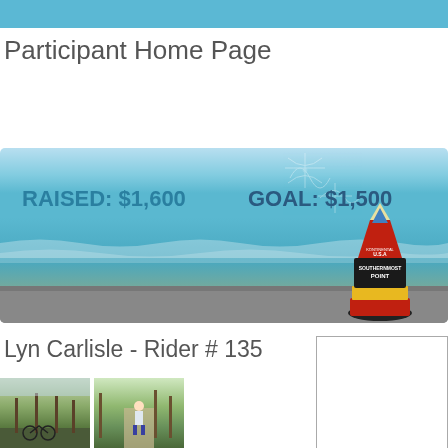Participant Home Page
[Figure (illustration): Event banner showing ocean/beach background with 'RAISED: $1,600' on the left and 'GOAL: $1,500' on the right, with a Southernmost Point buoy illustration on the right side and decorative firework swirls.]
Lyn Carlisle - Rider # 135
[Figure (photo): Two photos of a cyclist/rider outdoors in wooded areas]
[Figure (other): Sidebar box with border on the right side]